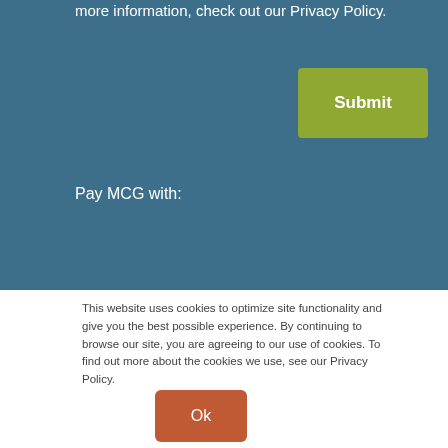more information, check out our Privacy Policy.
Submit
Pay MCG with:
This website uses cookies to optimize site functionality and give you the best possible experience. By continuing to browse our site, you are agreeing to our use of cookies. To find out more about the cookies we use, see our Privacy Policy.
Ok